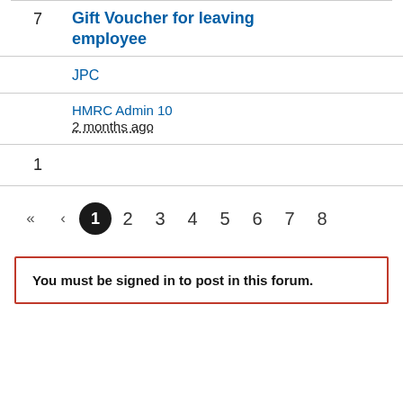7
Gift Voucher for leaving employee
JPC
HMRC Admin 10
2 months ago
1
« ‹ 1 2 3 4 5 6 7 8
You must be signed in to post in this forum.